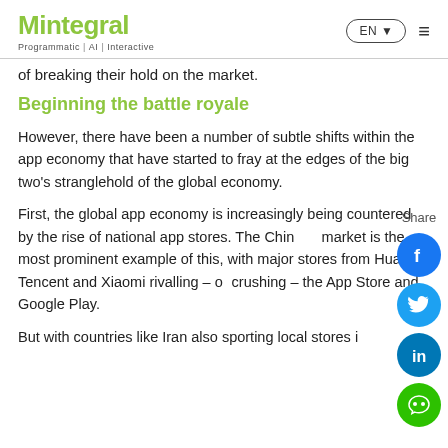Mintegral | Programmatic | AI | Interactive | EN ▼ | ≡
of breaking their hold on the market.
Beginning the battle royale
However, there have been a number of subtle shifts within the app economy that have started to fray at the edges of the big two's stranglehold of the global economy.
First, the global app economy is increasingly being countered by the rise of national app stores. The Chinese market is the most prominent example of this, with major stores from Huawei, Tencent and Xiaomi rivalling – or crushing – the App Store and Google Play.
But with countries like Iran also sporting local stores in…